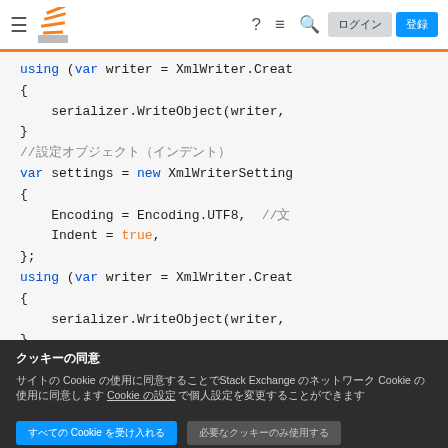[Figure (screenshot): Stack Overflow navigation bar with hamburger menu, logo, help/chat/search icons, and buttons for login]
[Figure (screenshot): Code snippet showing C# XML serialization code with using statements, XmlWriterSettings with Encoding=UTF8 and Indent=true]
[Figure (screenshot): Cookie consent modal overlay with title, description text mentioning Stack Exchange and Cookie policy, and two buttons: accept all cookies and necessary cookies only]
XmlDocument を使用してXMLを読み書きする（基本操作）